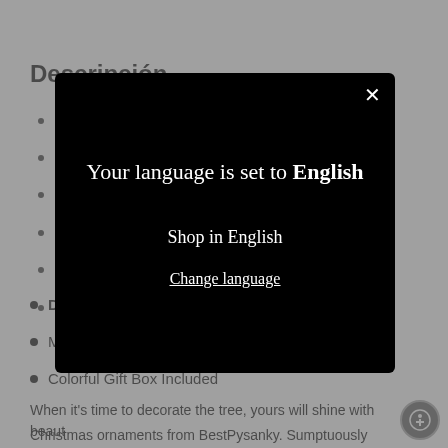Descripción
Designed in USSR
Made in Ukraine
Colorful Gift Box Included
When it's time to decorate the tree, yours will shine with beaut
Christmas ornaments from BestPysanky. Sumptuously decorated
[Figure (screenshot): Modal dialog popup on a webpage with dark background showing 'Your language is set to English', with 'Shop in English' button and 'Change language' link, and an X close button in the top right corner.]